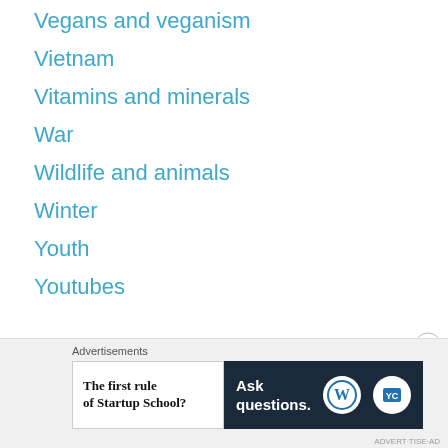Vegans and veganism
Vietnam
Vitamins and minerals
War
Wildlife and animals
Winter
Youth
Youtubes
Advertisements — The first rule of Startup School? Ask questions.